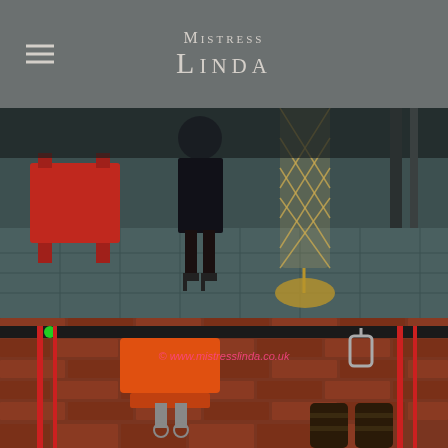Mistress Linda
[Figure (photo): Woman in black latex dress and high heels standing next to a person wrapped in rope netting suspended vertically, on a tiled floor with red equipment in background]
[Figure (photo): Close-up of suspension equipment including orange hoist/winch attached to a horizontal bar, with red rope and leather bound feet visible, brick wall in background. Watermark: © www.mistresslinda.co.uk]